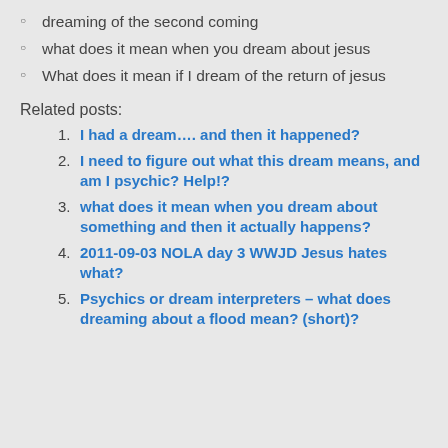dreaming of the second coming
what does it mean when you dream about jesus
What does it mean if I dream of the return of jesus
Related posts:
I had a dream…. and then it happened?
I need to figure out what this dream means, and am I psychic? Help!?
what does it mean when you dream about something and then it actually happens?
2011-09-03 NOLA day 3 WWJD Jesus hates what?
Psychics or dream interpreters – what does dreaming about a flood mean? (short)?